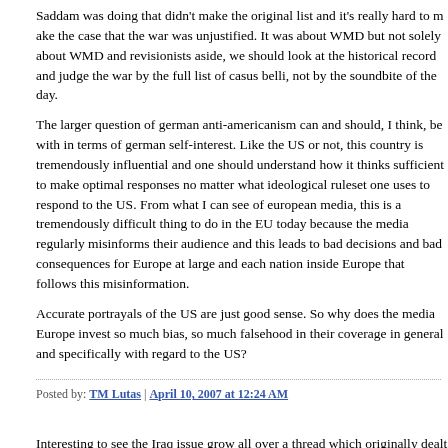Saddam was doing that didn't make the original list and it's really hard to make the case that the war was unjustified. It was about WMD but not solely about WMD and revisionists aside, we should look at the historical record and judge the war by the full list of casus belli, not by the soundbite of the day.
The larger question of german anti-americanism can and should, I think, be dealt with in terms of german self-interest. Like the US or not, this country is tremendously influential and one should understand how it thinks sufficient to make optimal responses no matter what ideological ruleset one uses to respond to the US. From what I can see of european media, this is a tremendously difficult thing to do in the EU today because the media regularly misinforms their audience and this leads to bad decisions and bad consequences for Europe at large and each nation inside Europe that follows this misinformation.
Accurate portrayals of the US are just good sense. So why does the media in Europe invest so much bias, so much falsehood in their coverage in general and specifically with regard to the US?
Posted by: TM Lutas | April 10, 2007 at 12:24 AM
Interesting to see the Iraq issue grow all over a thread which originally dealt with nuclear catastrophies in Europe, somehow the topics must be related.
I suppose the most interesting point in the history of Iraq is when Rudolf He-